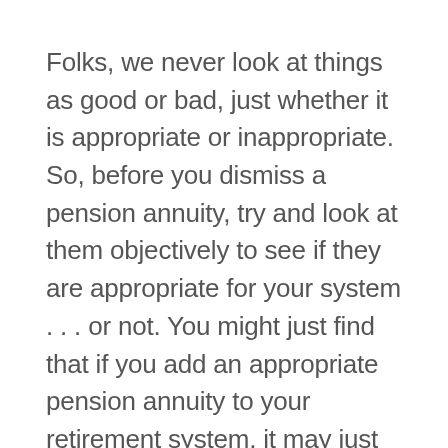Folks, we never look at things as good or bad, just whether it is appropriate or inappropriate. So, before you dismiss a pension annuity, try and look at them objectively to see if they are appropriate for your system . . . or not. You might just find that if you add an appropriate pension annuity to your retirement system, it may just add that additional layer of certainty we're all looking for in retirement.
They just may help ensure your retirement system doesn't run out of